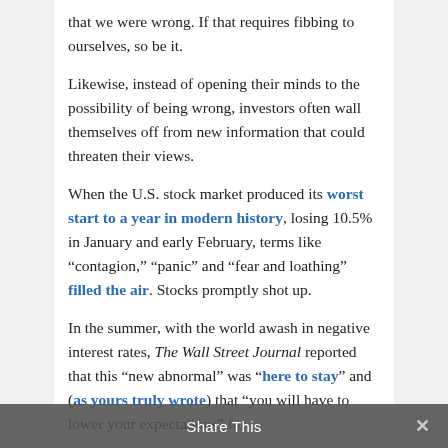that we were wrong. If that requires fibbing to ourselves, so be it.
Likewise, instead of opening their minds to the possibility of being wrong, investors often wall themselves off from new information that could threaten their views.
When the U.S. stock market produced its worst start to a year in modern history, losing 10.5% in January and early February, terms like “contagion,” “panic” and “fear and loathing” filled the air. Stocks promptly shot up.
In the summer, with the world awash in negative interest rates, The Wall Street Journal reported that this “new abnormal” was “here to stay” and (as yours truly wrote) that “you will have to lower your expectations” for
Share This ×